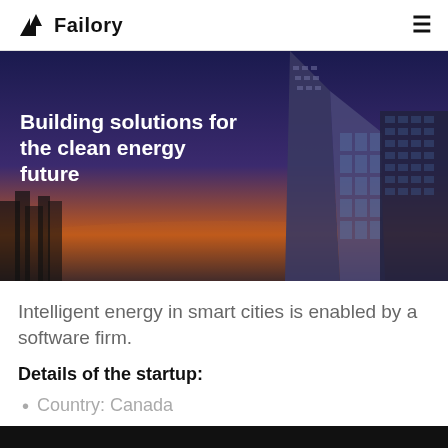Failory
[Figure (photo): Hero image of a city skyline at dusk with a tall glass skyscraper. Overlaid text: 'Building solutions for the clean energy future' and a paragraph: 'Every building can have a positive impact on its occupants and the planet as well as your bottom line. Peak Power creates AI-powered solutions that enable building owners to put the environment on the balance sheet. We unlock the potential for climate contributors to be part of the solution.']
Intelligent energy in smart cities is enabled by a software firm.
Details of the startup:
Country: Canada